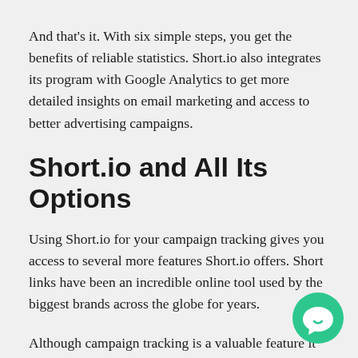And that's it. With six simple steps, you get the benefits of reliable statistics. Short.io also integrates its program with Google Analytics to get more detailed insights on email marketing and access to better advertising campaigns.
Short.io and All Its Options
Using Short.io for your campaign tracking gives you access to several more features Short.io offers. Short links have been an incredible online tool used by the biggest brands across the globe for years.
Although campaign tracking is a valuable feature it possesses, there are several more that are sure to h with every online endeavor. Checking out their site and